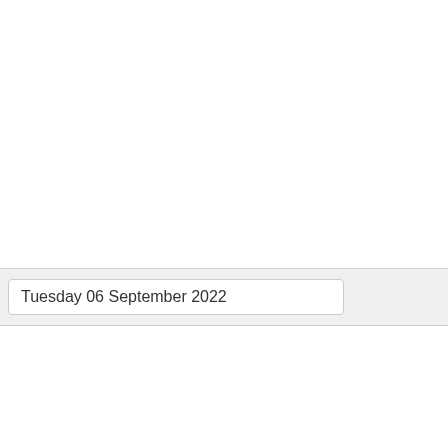Tuesday 06 September 2022
| Time | TV Show |
| --- | --- |
| 12:00 am | truTV Presents: World's Dumbest... |